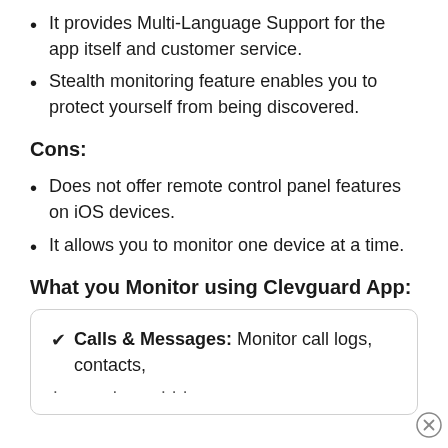It provides Multi-Language Support for the app itself and customer service.
Stealth monitoring feature enables you to protect yourself from being discovered.
Cons:
Does not offer remote control panel features on iOS devices.
It allows you to monitor one device at a time.
What you Monitor using Clevguard App:
✔ Calls & Messages: Monitor call logs, contacts,